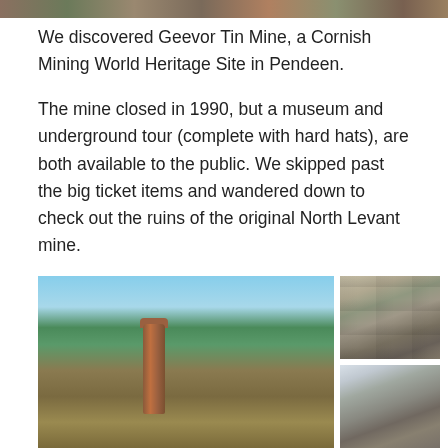[Figure (photo): Partial top strip of a photograph showing rocky/earthy outdoor scene, cropped at top of page]
We discovered Geevor Tin Mine, a Cornish Mining World Heritage Site in Pendeen.
The mine closed in 1990, but a museum and underground tour (complete with hard hats), are both available to the public. We skipped past the big ticket items and wandered down to check out the ruins of the original North Levant mine.
[Figure (photo): Left: tall brick chimney stack standing on coastal headland with deep blue sea and sky behind it. Top right: ruins of a stone building with two arched windows/openings. Bottom right: further ruins of stone mine buildings against sky.]